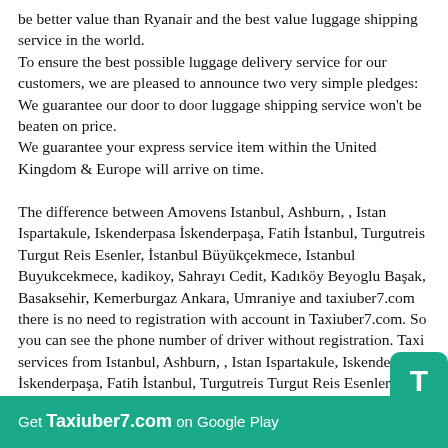be better value than Ryanair and the best value luggage shipping service in the world.
To ensure the best possible luggage delivery service for our customers, we are pleased to announce two very simple pledges:
We guarantee our door to door luggage shipping service won't be beaten on price.
We guarantee your express service item within the United Kingdom & Europe will arrive on time.
The difference between Amovens Istanbul, Ashburn, , Istan Ispartakule, Iskenderpasa İskenderpaşa, Fatih İstanbul, Turgutreis Turgut Reis Esenler, İstanbul Büyükçekmece, Istanbul Buyukcekmece, kadikoy, Sahrayı Cedit, Kadıköy Beyoglu Başak, Basaksehir, Kemerburgaz Ankara, Umraniye and taxiuber7.com there is no need to registration with account in Taxiuber7.com. So you can see the phone number of driver without registration. Taxi services from Istanbul, Ashburn, , Istan Ispartakule, Iskenderpasa İskenderpaşa, Fatih İstanbul, Turgutreis Turgut Reis Esenler, İstanbul Büyükçekmece, Istanbul Buyukcekmece, kadikoy, Sahrayı Cedit, Kadıköy Beyoglu Başak, Basaksehir, Kemerburgaz Ankara, Umraniye to Taxi Uber United States . Distance & Driving Directions from Istanbul, Ashburn, , Istan Ispartakule, Iskenderpasa İskenderpaşa, Fatih İstanbul, Turgutreis Turgut Reis Esenler, İstanbul Büyükçekmece, Istanbul Buyukcekmece, kadikoy, Sahrayı
Get Taxiuber7.com on Google Play